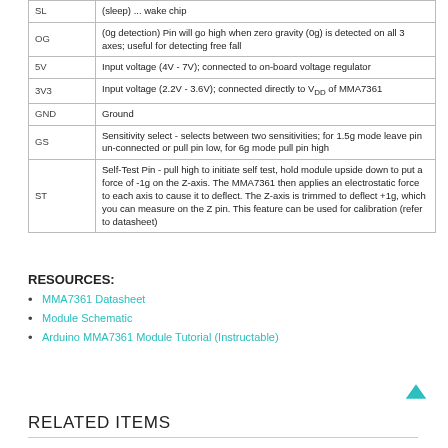| Pin | Description |
| --- | --- |
| SL | (sleep) ... wake chip |
| OG | (0g detection) Pin will go high when zero gravity (0g) is detected on all 3 axes; useful for detecting free fall |
| 5V | Input voltage (4V - 7V); connected to on-board voltage regulator |
| 3V3 | Input voltage (2.2V - 3.6V); connected directly to VDD of MMA7361 |
| GND | Ground |
| GS | Sensitivity select - selects between two sensitivities; for 1.5g mode leave pin un-connected or pull pin low, for 6g mode pull pin high |
| ST | Self-Test Pin - pull high to initiate self test, hold module upside down to put a force of -1g on the Z-axis. The MMA7361 then applies an electrostatic force to each axis to cause it to deflect. The Z-axis is trimmed to deflect +1g, which you can measure on the Z pin. This feature can be used for calibration (refer to datasheet) |
RESOURCES:
MMA7361 Datasheet
Module Schematic
Arduino MMA7361 Module Tutorial (Instructable)
RELATED ITEMS